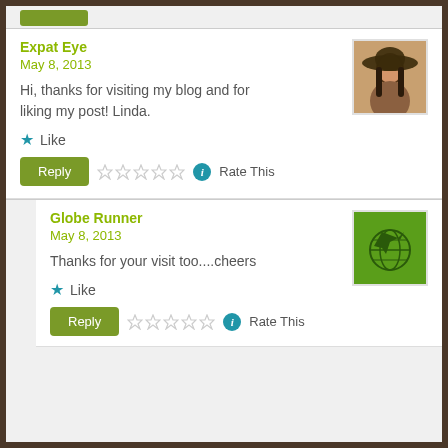Expat Eye
May 8, 2013
Hi, thanks for visiting my blog and for liking my post! Linda.
★ Like
[Reply] ☆☆☆☆☆ ⓘ Rate This
Globe Runner
May 8, 2013
Thanks for your visit too....cheers
★ Like
[Reply] ☆☆☆☆☆ ⓘ Rate This